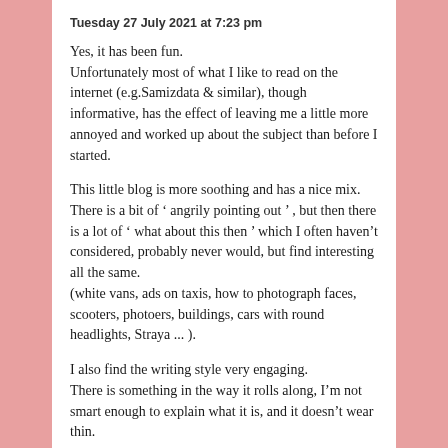Tuesday 27 July 2021 at 7:23 pm
Yes, it has been fun.
Unfortunately most of what I like to read on the internet (e.g.Samizdata & similar), though informative, has the effect of leaving me a little more annoyed and worked up about the subject than before I started.
This little blog is more soothing and has a nice mix. There is a bit of ‘ angrily pointing out ’ , but then there is a lot of ‘ what about this then ’ which I often haven’t considered, probably never would, but find interesting all the same.
(white vans, ads on taxis, how to photograph faces, scooters, photoers, buildings, cars with round headlights, Straya ... ).
I also find the writing style very engaging.
There is something in the way it rolls along, I’m not smart enough to explain what it is, and it doesn’t wear thin.